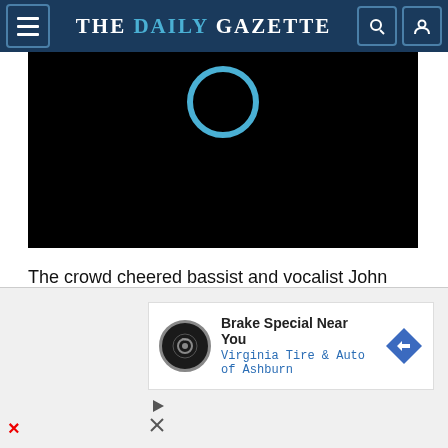THE DAILY GAZETTE
[Figure (screenshot): Black video player area with a teal/cyan circular ring icon near the top center, indicating a loading or play button on a dark background.]
The crowd cheered bassist and vocalist John Driskell Hopkins whenever he sang. A founding member of the band, Hopkins went public in May with his diagnosis of ALS, or Lou Gehrig’s disease.
Guitarist Clay Cook is another indispensable
[Figure (screenshot): Advertisement overlay for Virginia Tire & Auto of Ashburn showing a Brake Special Near You offer, with a tire logo and blue diamond-shaped arrow icon.]